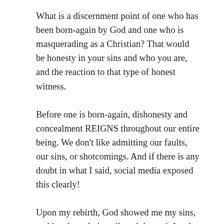What is a discernment point of one who has been born-again by God and one who is masquerading as a Christian? That would be honesty in your sins and who you are, and the reaction to that type of honest witness.
Before one is born-again, dishonesty and concealment REIGNS throughout our entire being. We don't like admitting our faults, our sins, or shotcomings. And if there is any doubt in what I said, social media exposed this clearly!
Upon my rebirth, God showed me my sins, and just how dark, evil, and decrepit I truly was. Before that point, I tended to hide that shame and the external “goodness” was all that one saw. So I wrote a tell all portion in a book called “The Roman Catholic Problem” which disclosed the final days leading up to my rebirth and the